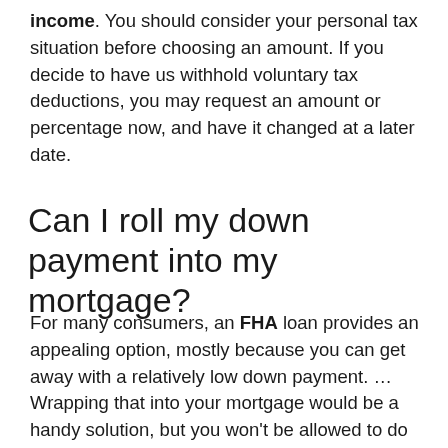income. You should consider your personal tax situation before choosing an amount. If you decide to have us withhold voluntary tax deductions, you may request an amount or percentage now, and have it changed at a later date.
Can I roll my down payment into my mortgage?
For many consumers, an FHA loan provides an appealing option, mostly because you can get away with a relatively low down payment. … Wrapping that into your mortgage would be a handy solution, but you won't be allowed to do it under FHA guidelines.